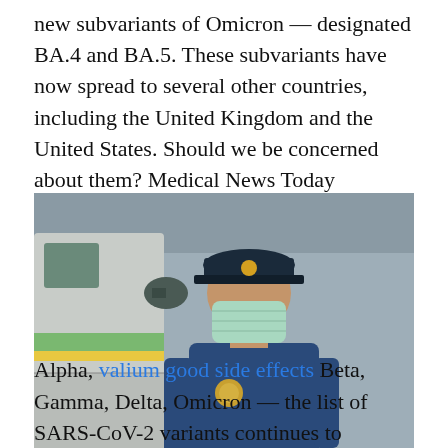new subvariants of Omicron — designated BA.4 and BA.5. These subvariants have now spread to several other countries, including the United Kingdom and the United States. Should we be concerned about them? Medical News Today assessed the evidence and spoke to experts in the U.S. and the U.K. to find out.
[Figure (photo): A paramedic or delivery worker wearing a blue uniform and surgical mask, looking down while handling a white box or document. A large vehicle (ambulance or van) is visible to the left. The scene is outdoors.]
We use cookies to ensure that we give you the best experience on our website. If you continue to use this site we will assume that you are happy with it.
Alpha, valium good side effects Beta, Gamma, Delta, Omicron — the list of SARS-CoV-2 variants continues to